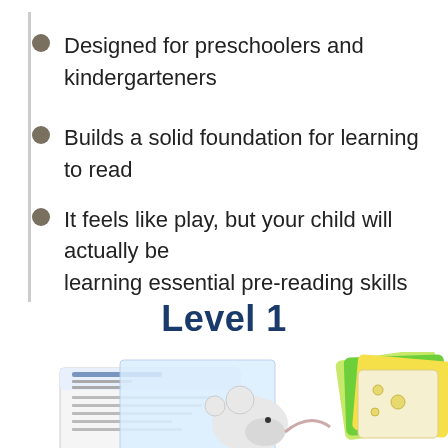Designed for preschoolers and kindergarteners
Builds a solid foundation for learning to read
It feels like play, but your child will actually be learning essential pre-reading skills
Level 1
[Figure (photo): Educational materials for Level 1 including worksheets, flashcards with a mouse illustration, and colored cards fanned out]